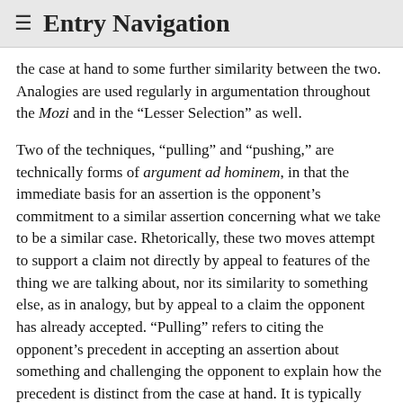≡ Entry Navigation
the case at hand to some further similarity between the two. Analogies are used regularly in argumentation throughout the Mozi and in the "Lesser Selection" as well.
Two of the techniques, "pulling" and "pushing," are technically forms of argument ad hominem, in that the immediate basis for an assertion is the opponent's commitment to a similar assertion concerning what we take to be a similar case. Rhetorically, these two moves attempt to support a claim not directly by appeal to features of the thing we are talking about, nor its similarity to something else, as in analogy, but by appeal to a claim the opponent has already accepted. "Pulling" refers to citing the opponent's precedent in accepting an assertion about something and challenging the opponent to explain how the precedent is distinct from the case at hand. It is typically signaled by a rhetorical question asking how the present case is any different from the precedent. If no explanation is forthcoming, a similar assertion about the case at hand stands. "Pulling" thus